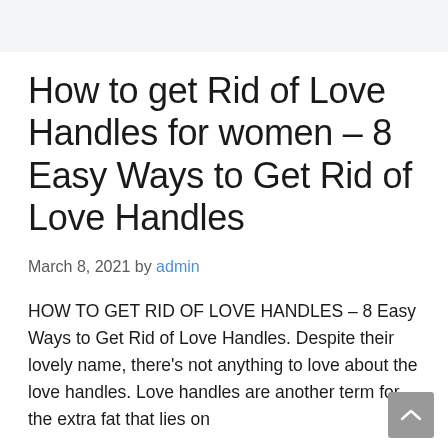How to get Rid of Love Handles for women – 8 Easy Ways to Get Rid of Love Handles
March 8, 2021 by admin
HOW TO GET RID OF LOVE HANDLES – 8 Easy Ways to Get Rid of Love Handles. Despite their lovely name, there's not anything to love about the love handles. Love handles are another term for the extra fat that lies on